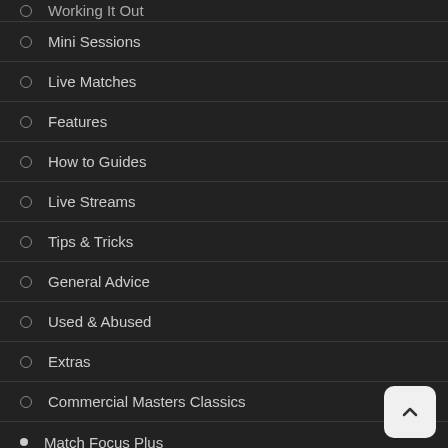Working It Out
Mini Sessions
Live Matches
Features
How to Guides
Live Streams
Tips & Tricks
General Advice
Used & Abused
Extras
Commercial Masters Classics
Match Focus Plus